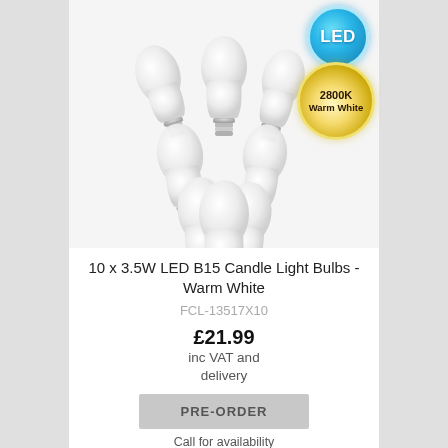[Figure (photo): Ten white LED B15 candle light bulbs arranged in a fan/pyramid pattern on a white/light gray background, with a blue LED badge in the top right and a gold 2800K Warm White badge below it.]
10 x 3.5W LED B15 Candle Light Bulbs - Warm White
FCL-13517X10
£21.99
inc VAT and delivery
PRE-ORDER
Call for availability